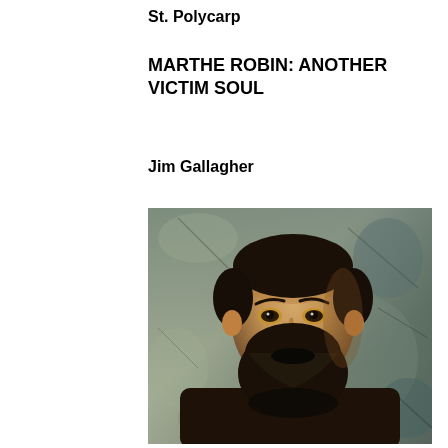St. Polycarp
MARTHE ROBIN: ANOTHER VICTIM SOUL
Jim Gallagher
[Figure (photo): Black and white/aged colorized portrait photograph of a bearded man in dark clerical or religious robes, with a textured, mottled background.]